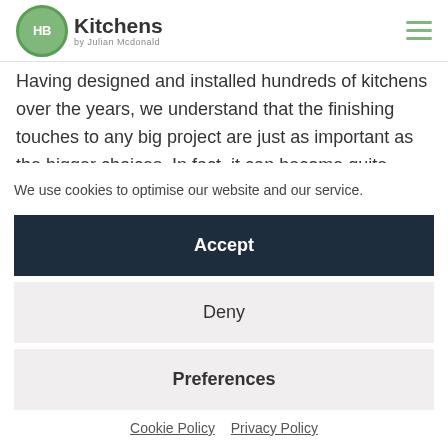HB Kitchens by Julian Mcdonald
Having designed and installed hundreds of kitchens over the years, we understand that the finishing touches to any big project are just as important as the bigger choices. In fact, it can become quite
We use cookies to optimise our website and our service.
Accept
Deny
Preferences
Cookie Policy  Privacy Policy